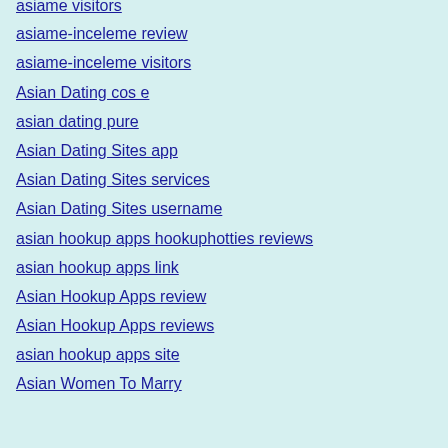asiame visitors
asiame-inceleme review
asiame-inceleme visitors
Asian Dating cos e
asian dating pure
Asian Dating Sites app
Asian Dating Sites services
Asian Dating Sites username
asian hookup apps hookuphotties reviews
asian hookup apps link
Asian Hookup Apps review
Asian Hookup Apps reviews
asian hookup apps site
Asian Women To Marry